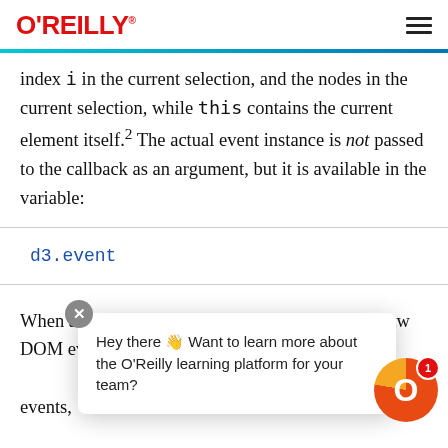O'REILLY
index i in the current selection, and the nodes in the current selection, while this contains the current element itself.2 The actual event instance is not passed to the callback as an argument, but it is available in the variable:
d3.event
When an event occurs, this variable contains the raw DOM event (including the pointer coordinates!). The information available from d3.event depends on the event type. For mouse events,